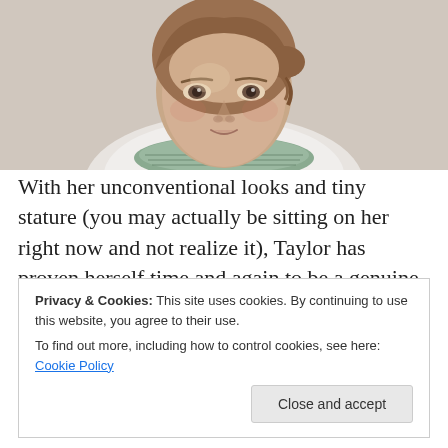[Figure (photo): Portrait photo of a woman with light brown hair pulled back, wearing a white top with green knit/woven neckline detail, smiling slightly, photographed against a light gray background]
With her unconventional looks and tiny stature (you may actually be sitting on her right now and not realize it), Taylor has proven herself time and again to be a genuine actress, and by that, I mean someone who submerges the
Privacy & Cookies: This site uses cookies. By continuing to use this website, you agree to their use.
To find out more, including how to control cookies, see here: Cookie Policy
Close and accept